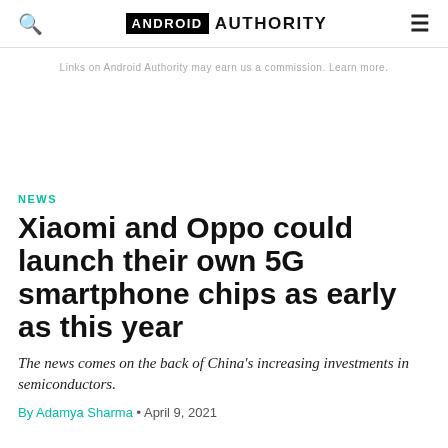ANDROID AUTHORITY
Links on Android Authority may earn us a commission. Learn more.
NEWS
Xiaomi and Oppo could launch their own 5G smartphone chips as early as this year
The news comes on the back of China's increasing investments in semiconductors.
By Adamya Sharma • April 9, 2021